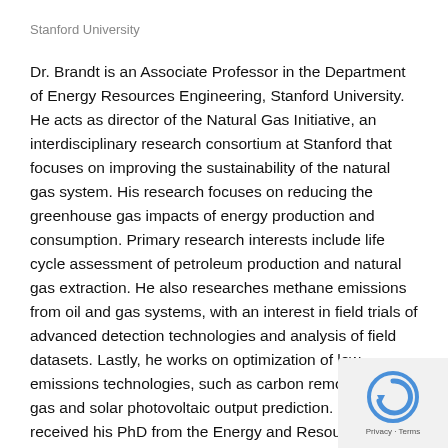Stanford University
Dr. Brandt is an Associate Professor in the Department of Energy Resources Engineering, Stanford University. He acts as director of the Natural Gas Initiative, an interdisciplinary research consortium at Stanford that focuses on improving the sustainability of the natural gas system. His research focuses on reducing the greenhouse gas impacts of energy production and consumption. Primary research interests include life cycle assessment of petroleum production and natural gas extraction. He also researches methane emissions from oil and gas systems, with an interest in field trials of advanced detection technologies and analysis of field datasets. Lastly, he works on optimization of low emissions technologies, such as carbon removal from gas and solar photovoltaic output prediction. Dr. Brandt received his PhD from the Energy and Resources Group, UC Ber…